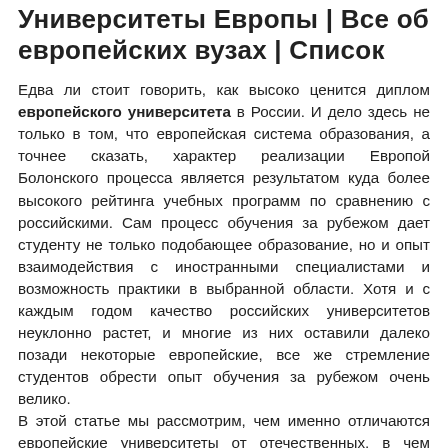Университеты Европы | Все об европейских вузах | Список
Едва ли стоит говорить, как высоко ценится диплом европейского университета в России. И дело здесь не только в том, что европейская система образования, а точнее сказать, характер реализации Европой Болонского процесса является результатом куда более высокого рейтинга учебных программ по сравнению с российскими. Сам процесс обучения за рубежом дает студенту не только подобающее образование, но и опыт взаимодействия с иностранными специалистами и возможность практики в выбранной области. Хотя и с каждым годом качество российских университетов неуклонно растет, и многие из них оставили далеко позади некоторые европейские, все же стремление студентов обрести опыт обучения за рубежом очень велико.
В этой статье мы рассмотрим, чем именно отличаются европейские университеты от отечественных, в чем разница в университетах Европы и США, как выбрать страну обучения исходя из своих возможностей, и как, поставив цель, все же отправиться учиться в совершенно другой мир.